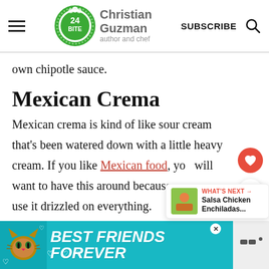Christian Guzman author and chef | SUBSCRIBE
own chipotle sauce.
Mexican Crema
Mexican crema is kind of like sour cream that's been watered down with a little heavy cream. If you like Mexican food, you will want to have this around because you can use it drizzled on everything.
[Figure (other): Advertisement banner: teal background with cat image, text BEST FRIENDS FOREVER with heart icons]
[Figure (other): What's Next widget showing Salsa Chicken Enchiladas with food thumbnail]